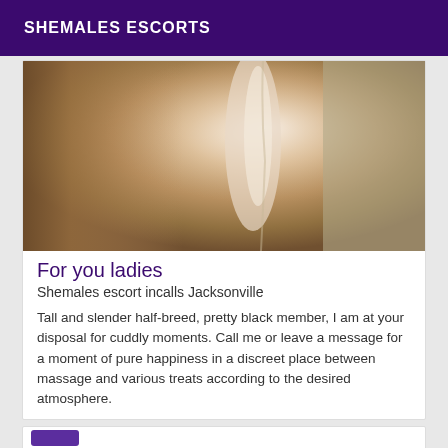SHEMALES ESCORTS
[Figure (photo): Close-up photo of a person's neck and back, skin tones of brown and beige, soft lighting]
For you ladies
Shemales escort incalls Jacksonville
Tall and slender half-breed, pretty black member, I am at your disposal for cuddly moments. Call me or leave a message for a moment of pure happiness in a discreet place between massage and various treats according to the desired atmosphere.